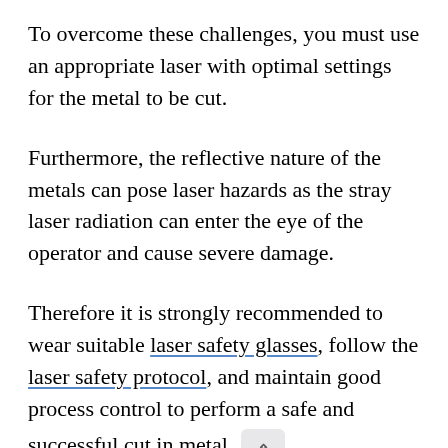To overcome these challenges, you must use an appropriate laser with optimal settings for the metal to be cut.
Furthermore, the reflective nature of the metals can pose laser hazards as the stray laser radiation can enter the eye of the operator and cause severe damage.
Therefore it is strongly recommended to wear suitable laser safety glasses, follow the laser safety protocol, and maintain good process control to perform a safe and successful cut in metal.